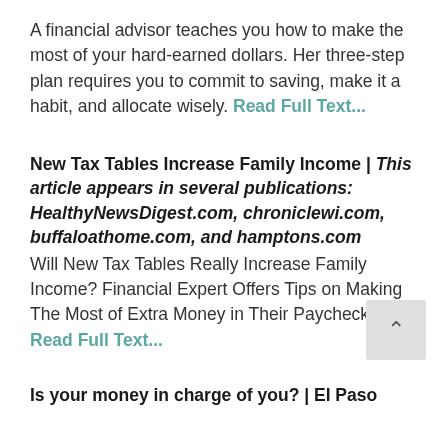A financial advisor teaches you how to make the most of your hard-earned dollars. Her three-step plan requires you to commit to saving, make it a habit, and allocate wisely. Read Full Text...
New Tax Tables Increase Family Income | This article appears in several publications: HealthyNewsDigest.com, chroniclewi.com, buffaloathome.com, and hamptons.com
Will New Tax Tables Really Increase Family Income? Financial Expert Offers Tips on Making The Most of Extra Money in Their Paychecks. Read Full Text...
Is your money in charge of you? | El Paso